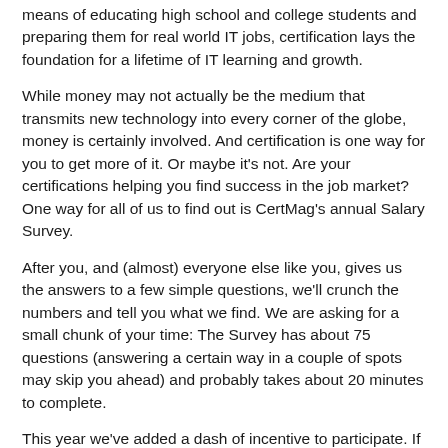means of educating high school and college students and preparing them for real world IT jobs, certification lays the foundation for a lifetime of IT learning and growth.
While money may not actually be the medium that transmits new technology into every corner of the globe, money is certainly involved. And certification is one way for you to get more of it. Or maybe it's not. Are your certifications helping you find success in the job market? One way for all of us to find out is CertMag's annual Salary Survey.
After you, and (almost) everyone else like you, gives us the answers to a few simple questions, we'll crunch the numbers and tell you what we find. We are asking for a small chunk of your time: The Survey has about 75 questions (answering a certain way in a couple of spots may skip you ahead) and probably takes about 20 minutes to complete.
This year we've added a dash of incentive to participate. If you take the survey all the way to the end, we'll thank you with either (or both!) or two incentives. You can get a free digital subscription to Certification Magazine for one year. Or you get a one-year print subscription at 40 percent off the normal cost.